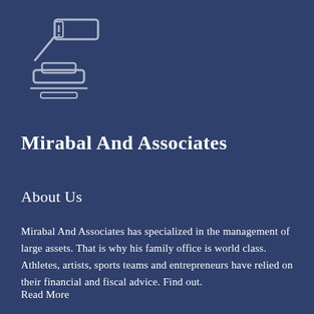[Figure (illustration): A gavel/judge hammer icon drawn in outline style (light gray/silver lines on dark blue background), resembling a legal or law-related icon. The gavel is shown with a handle and head, plus a sound block beneath it.]
Mirabal And Associates
About Us
Mirabal And Associates has specialized in the management of large assets. That is why his family office is world class. Athletes, artists, sports teams and entrepreneurs have relied on their financial and fiscal advice. Find out.
Read More